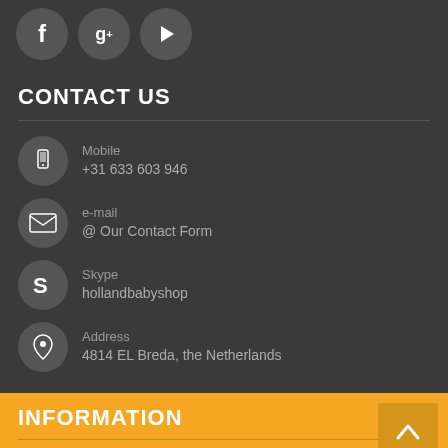[Figure (infographic): Social media icons: Facebook (f), Google+ (g+), and Play button, each in circular dark gray buttons]
CONTACT US
Mobile +31 633 603 946
e-mail @ Our Contact Form
Skype hollandbabyshop
Address 4814 EL Breda, the Netherlands
INFORMATION
About Us
Why Choose Us?